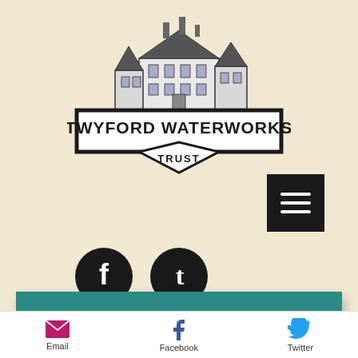[Figure (logo): Twyford Waterworks Trust logo with illustration of a building/waterworks above text in a rectangular frame with diamond below]
[Figure (infographic): Black hamburger menu button with three horizontal white lines]
[Figure (infographic): Two circular social media icons - Facebook (f) and Tumblr (t) in black circles]
Contact Us & How to Find Us
Email  Facebook  Twitter